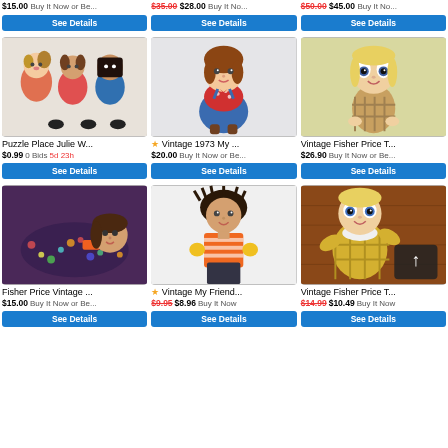$15.00 Buy It Now or Be...
$35.00 $28.00 Buy It No...
$50.00 $45.00 Buy It No...
[Figure (photo): Puzzle Place Julie W dolls group photo]
Puzzle Place Julie W...
$0.99 0 Bids 5d 23h
[Figure (photo): Vintage 1973 My Friend doll in blue overalls]
Vintage 1973 My ...
$20.00 Buy It Now or Be...
[Figure (photo): Vintage Fisher Price Toy doll]
Vintage Fisher Price T...
$26.90 Buy It Now or Be...
[Figure (photo): Fisher Price Vintage doll lying down]
Fisher Price Vintage ...
$15.00 Buy It Now or Be...
[Figure (photo): Vintage My Friend doll in striped shirt]
Vintage My Friend...
$9.95 $8.96 Buy It Now
[Figure (photo): Vintage Fisher Price Toy baby doll in yellow outfit]
Vintage Fisher Price T...
$14.99 $10.49 Buy It Now